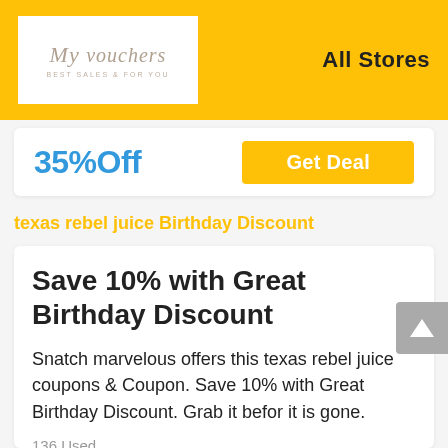[Figure (logo): My Vouchers logo — italic script text on white background with tagline 'BEST SALES & FOR YOU']
All Stores
35%Off
Get Deal
texas rebel juice Birthday Discount
Save 10% with Great Birthday Discount
Snatch marvelous offers this texas rebel juice coupons & Coupon. Save 10% with Great Birthday Discount. Grab it befor it is gone.
136 Used